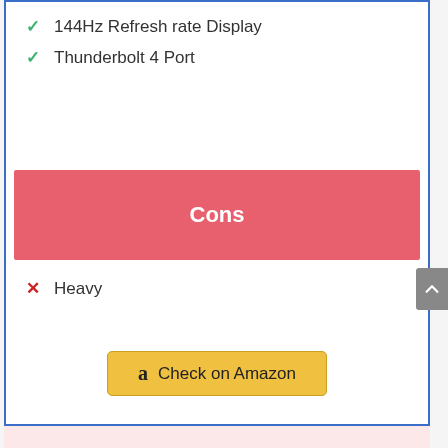144Hz Refresh rate Display
Thunderbolt 4 Port
Cons
Heavy
Check on Amazon